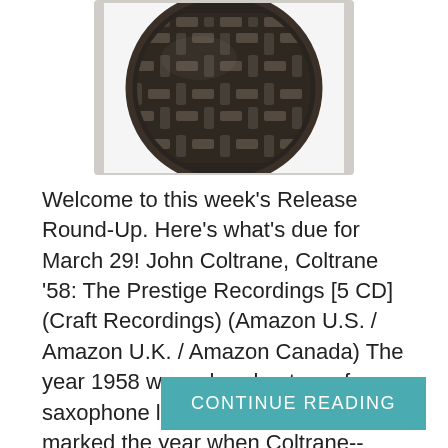[Figure (photo): Close-up top-down photo of a dark metallic circular disc or speaker grille with a woven/grid pattern of raised rectangular elements, on a white background.]
Welcome to this week's Release Round-Up. Here's what's due for March 29! John Coltrane, Coltrane '58: The Prestige Recordings [5 CD] (Craft Recordings) (Amazon U.S. / Amazon U.K. / Amazon Canada) The year 1958 was a breakout one for saxophone legend John Coltrane. It marked the year when Coltrane--already well-established as a talented sideman--began to make a name for himself as a solo musician and developed his signature "sheets of sound" style while exploring many other routes.  To
CONTINUE READING